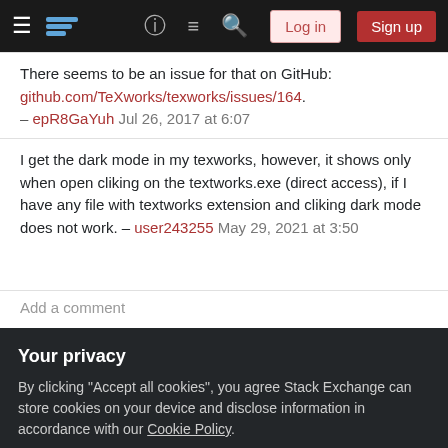Stack Exchange navigation bar with hamburger menu, logo, help, chat, search, Log in, Sign up buttons
There seems to be an issue for that on GitHub: github.com/TeXworks/texworks/issues/164. – epR8GaYuh Jul 26, 2017 at 6:07
I get the dark mode in my texworks, however, it shows only when open cliking on the textworks.exe (direct access), if I have any file with textworks extension and cliking dark mode does not work. – user243255 May 29, 2021 at 3:50
Add a comment
Sorted by:
Your privacy
By clicking "Accept all cookies", you agree Stack Exchange can store cookies on your device and disclose information in accordance with our Cookie Policy.
Accept all cookies
Customize settings
Colors". The author of the post explains that you